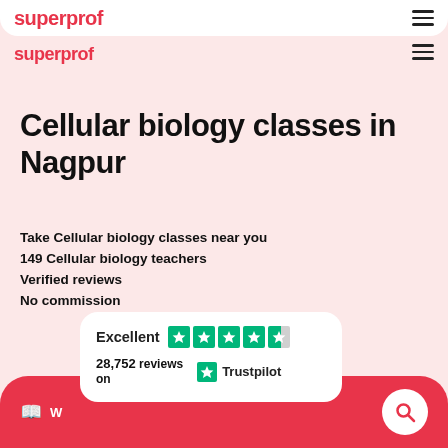superprof
superprof
Cellular biology classes in Nagpur
Take Cellular biology classes near you
149 Cellular biology teachers
Verified reviews
No commission
[Figure (logo): Trustpilot rating card showing Excellent with 4.5 stars and 28,752 reviews on Trustpilot]
W ... [menu icon] [search icon]